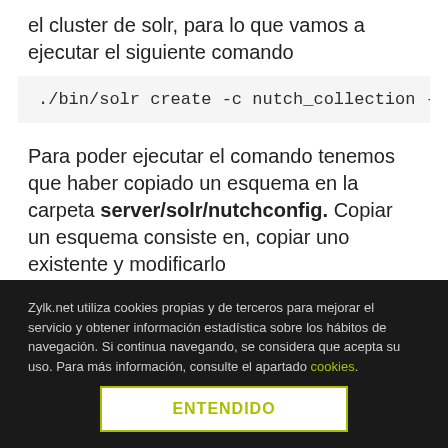el cluster de solr, para lo que vamos a ejecutar el siguiente comando
./bin/solr create -c nutch_collection -d ./serve
Para poder ejecutar el comando tenemos que haber copiado un esquema en la carpeta server/solr/nutchconfig. Copiar un esquema consiste en, copiar uno existente y modificarlo
Copiar una configuración básica de las existentes solr-6.6.0/server/solr/configsets/basic_configs a solr-6.6.0/server/solr/nutchconfig
Zylk.net utiliza cookies propias y de terceros para mejorar el servicio y obtener información estadística sobre los hábitos de navegación. Si continua navegando, se considera que acepta su uso. Para más información, consulte el apartado cookies.
ENTENDIDO